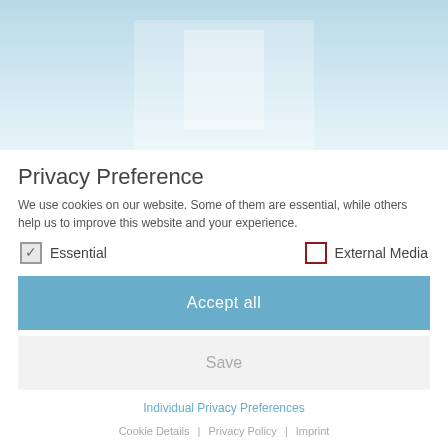[Figure (photo): Background photo of a light blue interior room, faded/washed out appearance]
Privacy Preference
We use cookies on our website. Some of them are essential, while others help us to improve this website and your experience.
✓ Essential
☐ External Media
Accept all
Save
Individual Privacy Preferences
Cookie Details | Privacy Policy | Imprint